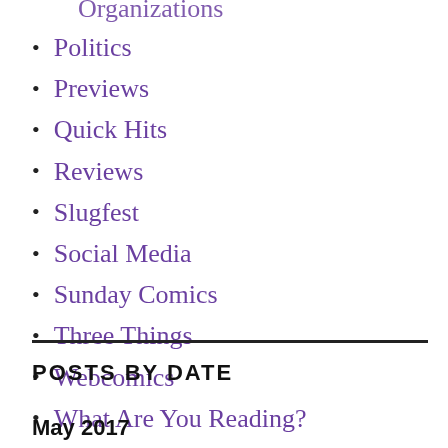Organizations
Politics
Previews
Quick Hits
Reviews
Slugfest
Social Media
Sunday Comics
Three Things
Webcomics
What Are You Reading?
POSTS BY DATE
May 2017